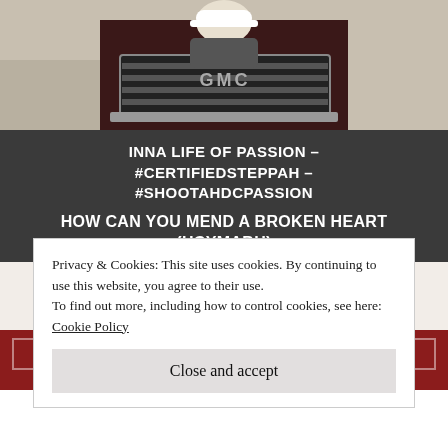[Figure (photo): Photo of a person in a white baseball cap standing in front of a dark GMC vehicle grille, viewed from above]
INNA LIFE OF PASSION – #CERTIFIEDSTEPPAH – #SHOOTAHDCPASSION
HOW CAN YOU MEND A BROKEN HEART (HCYMABH)
Tag: healing
Privacy & Cookies: This site uses cookies. By continuing to use this website, you agree to their use.
To find out more, including how to control cookies, see here: Cookie Policy
Close and accept